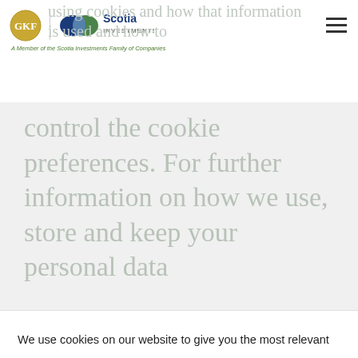GKF | Scotia Investments — A Member of the Scotia Investments Family of Companies
using cookies and how that information is used and how to control the cookie preferences. For further information on how we use, store and keep your personal data
We use cookies on our website to give you the most relevant experience by remembering your preferences and repeat visits. By clicking “Accept”, you consent to the use of ALL the cookies. However you may visit Cookie Settings to provide a controlled consent.
Cookie settings | ACCEPT